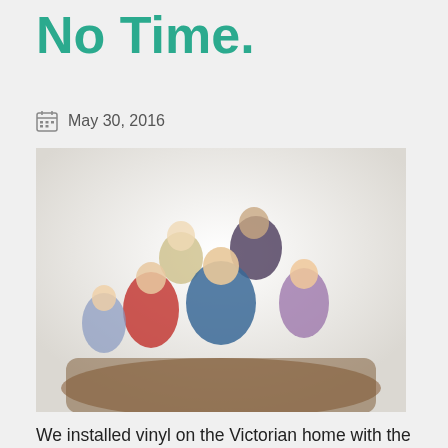No Time.
May 30, 2016
[Figure (photo): Group photo of six people (TV show cast) posed together on a couch/furniture, smiling at camera]
We installed vinyl on the Victorian home with the 11 windows replace your kitchen's cabinets, countertops and flooring. You can improve your